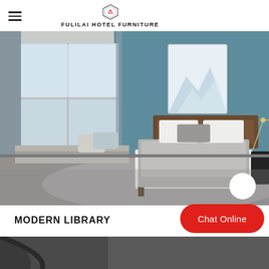FULILAI HOTEL FURNITURE
[Figure (photo): Hotel bedroom with teal/blue walls, large windows with sheer curtains, a double bed with grey bedding and wooden frame, wall art of mountains, and a window seat with pillows. Modern Scandinavian-style interior design.]
MODERN LIBRARY
[Figure (photo): Partial view of another hotel room or library space, bottom section visible.]